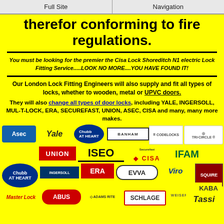Full Site | Navigation
therefor conforming to fire regulations.
You must be looking for the premier the Cisa Lock Shoreditch N1 electric Lock Fitting Service.....LOOK NO MORE....YOU HAVE FOUND IT!
Our London Lock Fitting Engineers will also supply and fit all types of locks, whether to wooden, metal or UPVC doors.
They will also change all types of door locks, including YALE, INGERSOLL, MUL-T-LOCK, ERA, SECUREFAST, UNION, ASEC, CISA and many, many more makes.
[Figure (logo): Brand logos for various lock manufacturers including Asec, Yale, Chubb, Banham, Codelocks, Tri-Circle, Union, ISEO, Securefast, CISA, IFAM, Chubb, Ingersoll, ERA, EVVA, Viro, Squire, Kaba, Master Lock, ABUS, Adams Rite, Schlage, Weiser Lock, Tassi]